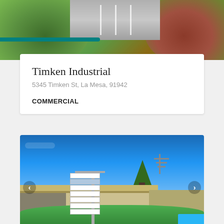[Figure (photo): Aerial view of a building with green bushes and parking lot with teal structure visible]
Timken Industrial
5345 Timken St, La Mesa, 91942
COMMERCIAL
[Figure (photo): Street-level photo of Timken Industrial building exterior with blue sky, signage post, bushes, and a scroll-up button in the bottom right corner]